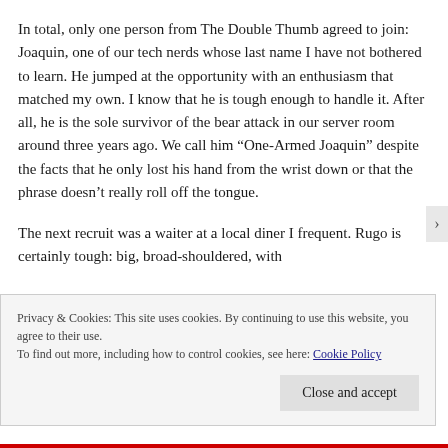In total, only one person from The Double Thumb agreed to join: Joaquin, one of our tech nerds whose last name I have not bothered to learn. He jumped at the opportunity with an enthusiasm that matched my own. I know that he is tough enough to handle it. After all, he is the sole survivor of the bear attack in our server room around three years ago. We call him “One-Armed Joaquin” despite the facts that he only lost his hand from the wrist down or that the phrase doesn’t really roll off the tongue.
The next recruit was a waiter at a local diner I frequent. Rugo is certainly tough: big, broad-shouldered, with
Privacy & Cookies: This site uses cookies. By continuing to use this website, you agree to their use.
To find out more, including how to control cookies, see here: Cookie Policy